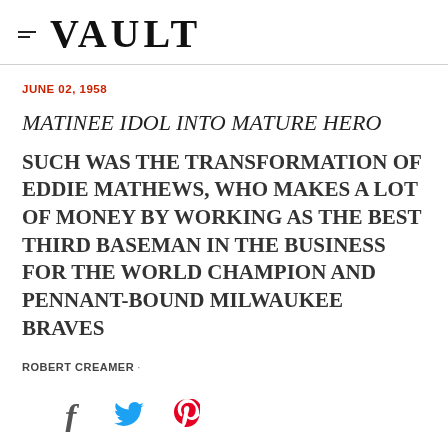VAULT
JUNE 02, 1958
MATINEE IDOL INTO MATURE HERO
SUCH WAS THE TRANSFORMATION OF EDDIE MATHEWS, WHO MAKES A LOT OF MONEY BY WORKING AS THE BEST THIRD BASEMAN IN THE BUSINESS FOR THE WORLD CHAMPION AND PENNANT-BOUND MILWAUKEE BRAVES
ROBERT CREAMER ·
[Figure (infographic): Social sharing icons: Facebook (f), Twitter (bird), Pinterest (P)]
[Figure (photo): Partial Sports Illustrated magazine cover from June 1958 showing the title SPORTS ILLUSTRATED]